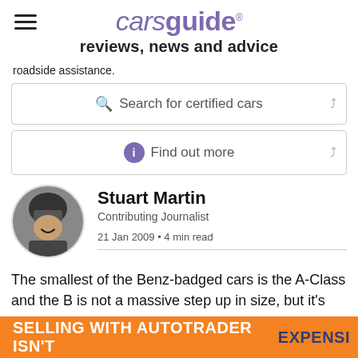carsguide reviews, news and advice
roadside assistance.
Search for certified cars
Find out more
Stuart Martin
Contributing Journalist
21 Jan 2009 • 4 min read
[Figure (photo): Circular profile photo of Stuart Martin wearing a racing helmet inside a car, smiling.]
The smallest of the Benz-badged cars is the A-Class and the B is not a massive step up in size, but it's enough space.
SELLING WITH AUTOTRADER ISN'T EXPENSI